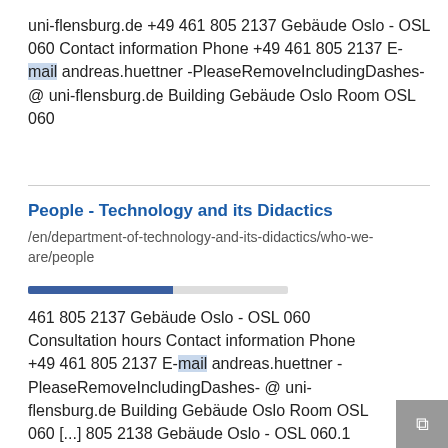uni-flensburg.de +49 461 805 2137 Gebäude Oslo - OSL 060 Contact information Phone +49 461 805 2137 E-mail andreas.huettner -PleaseRemoveIncludingDashes- @ uni-flensburg.de Building Gebäude Oslo Room OSL 060
People - Technology and its Didactics
/en/department-of-technology-and-its-didactics/who-we-are/people
461 805 2137 Gebäude Oslo - OSL 060 Consultation hours Contact information Phone +49 461 805 2137 E-mail andreas.huettner -PleaseRemoveIncludingDashes- @ uni-flensburg.de Building Gebäude Oslo Room OSL 060 [...] 805 2138 Gebäude Oslo - OSL 060.1 Consultation hours Contact information Phone +49 461 805 2138 E-mail toennsen -PleaseRemoveIncludingDashes- @ uni-flensburg.de Building Gebäude Oslo Room OSL 060.1